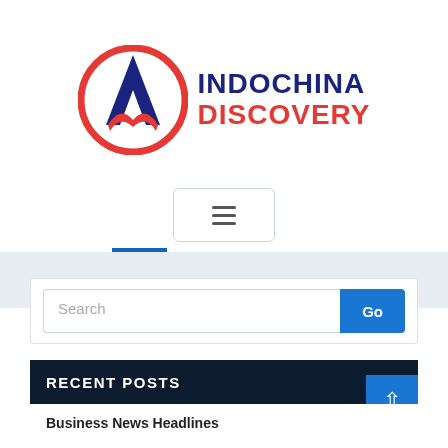[Figure (logo): Indochina Discovery logo — circular red and blue emblem with letter A/M shape, next to bold text INDOCHINA in dark blue and DISCOVERY in red]
[Figure (other): Hamburger menu button — three horizontal lines in a rounded rectangle border]
Search
Go
RECENT POSTS
Business News Headlines